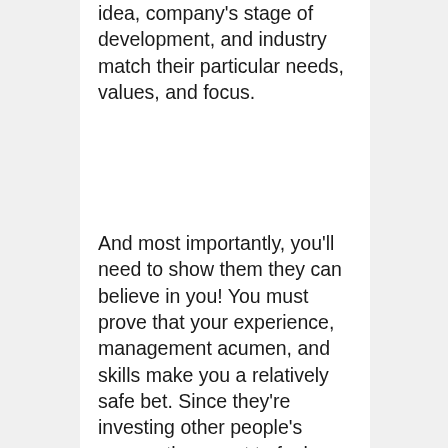idea, company's stage of development, and industry match their particular needs, values, and focus.
And most importantly, you'll need to show them they can believe in you! You must prove that your experience, management acumen, and skills make you a relatively safe bet. Since they're investing other people's money, they want to feel confident you're worth the risk. By understanding how venture capital financing works and adjusting your expectations properly, you'll have a jumpstart on the competition before you even give your first